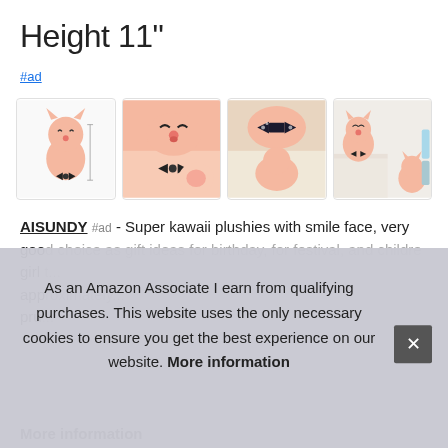Height 11"
#ad
[Figure (photo): Four product thumbnail images of a pink kawaii cat plushie with black bow tie, shown from different angles]
AISUNDY #ad - Super kawaii plushies with smile face, very good choice as gift ideas for birthday, for festival, and children girl to... approximately... pru...
As an Amazon Associate I earn from qualifying purchases. This website uses the only necessary cookies to ensure you get the best experience on our website. More information
More information